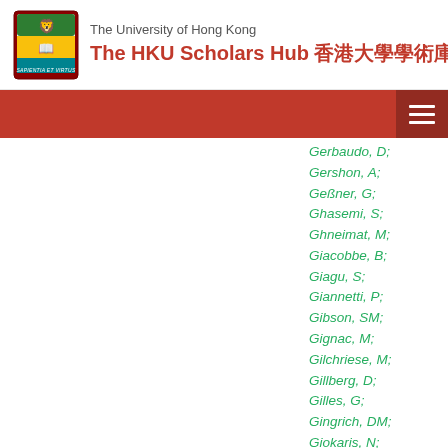The University of Hong Kong — The HKU Scholars Hub 香港大學學術庫
Gerbaudo, D;
Gershon, A;
Geßner, G;
Ghasemi, S;
Ghneimat, M;
Giacobbe, B;
Giagu, S;
Giannetti, P;
Gibson, SM;
Gignac, M;
Gilchriese, M;
Gillberg, D;
Gilles, G;
Gingrich, DM;
Giokaris, N;
Giordani, MP;
Giorgi, FM;
Giraud, PF;